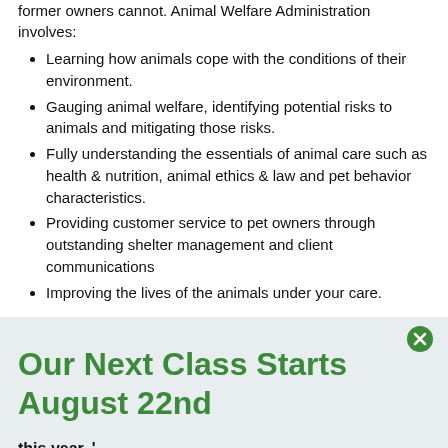former owners cannot. Animal Welfare Administration involves:
Learning how animals cope with the conditions of their environment.
Gauging animal welfare, identifying potential risks to animals and mitigating those risks.
Fully understanding the essentials of animal care such as health & nutrition, animal ethics & law and pet behavior characteristics.
Providing customer service to pet owners through outstanding shelter management and client communications
Improving the lives of the animals under your care.
Our Next Class Starts August 22nd
this year. '